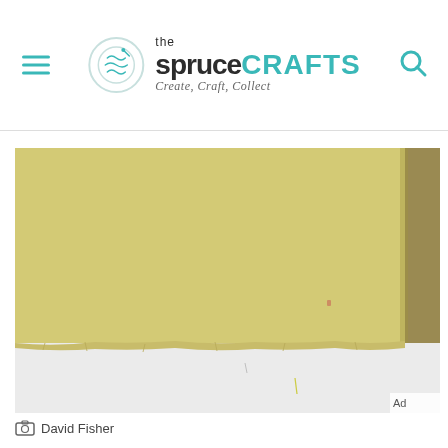the spruce CRAFTS — Create, Craft, Collect
[Figure (photo): A sheet of pale yellow felt lying flat on a white cutting board, photographed from above. The felt has slightly uneven edges at the bottom.]
David Fisher